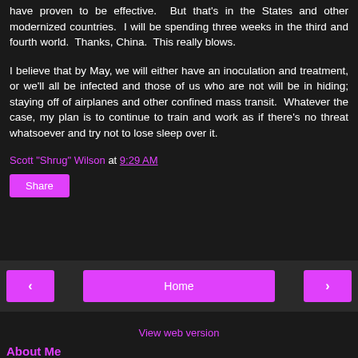have proven to be effective.  But that's in the States and other modernized countries.  I will be spending three weeks in the third and fourth world.  Thanks, China.  This really blows.
I believe that by May, we will either have an inoculation and treatment, or we'll all be infected and those of us who are not will be in hiding; staying off of airplanes and other confined mass transit.  Whatever the case, my plan is to continue to train and work as if there's no threat whatsoever and try not to lose sleep over it.
Scott "Shrug" Wilson at 9:29 AM
Share
Home
View web version
About Me